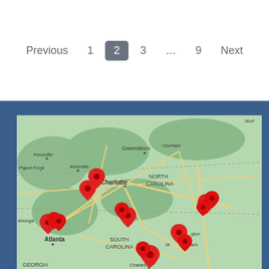Previous  1  2  3  ...  9  Next
[Figure (map): Google Maps view showing the southeastern United States — North Carolina, South Carolina, Georgia region — with multiple red location pin markers clustered around Atlanta, Charlotte, Columbia SC, Charleston SC, Wilmington NC, and other cities.]